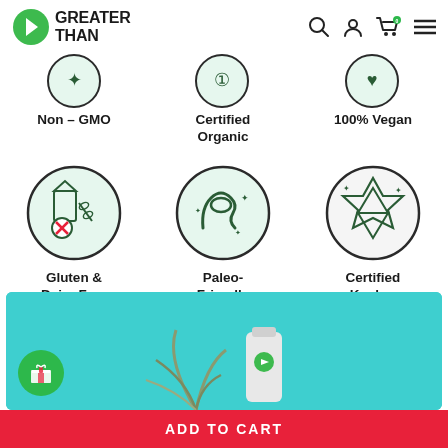GREATER THAN
[Figure (illustration): Non-GMO certification icon in a circle with mint background]
Non – GMO
[Figure (illustration): Certified Organic certification icon in a circle with mint background]
Certified Organic
[Figure (illustration): 100% Vegan certification icon in a circle with mint background]
100% Vegan
[Figure (illustration): Gluten and Dairy Free icon - milk carton with wheat crossed out in a circle]
Gluten & Dairy Free
[Figure (illustration): Paleo-Friendly icon - flexing arm in a circle]
Paleo-Friendly
[Figure (illustration): Certified Kosher icon - Star of David in a circle]
Certified Kosher
[Figure (photo): Teal/cyan background banner with a plant and Greater Than product bottle]
ADD TO CART